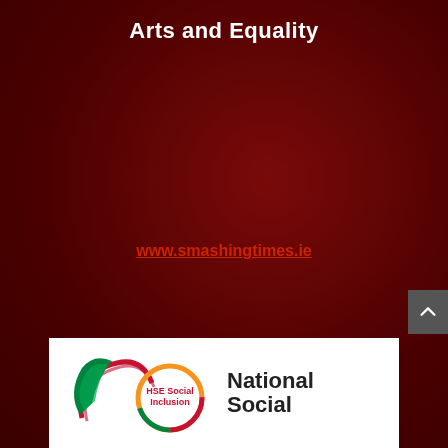Arts and Equality
www.smashingtimes.ie
[Figure (logo): HSE Social Inclusion and National Social Inclusion logos at the bottom of the page on a white background]